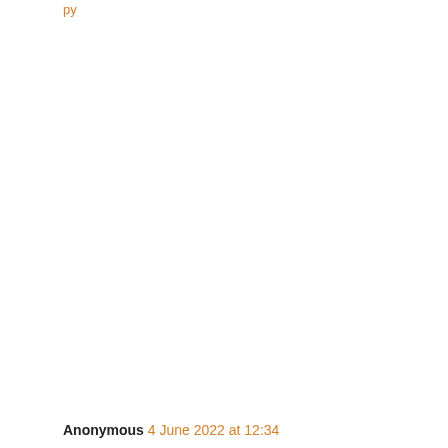py
Anonymous 4 June 2022 at 12:34